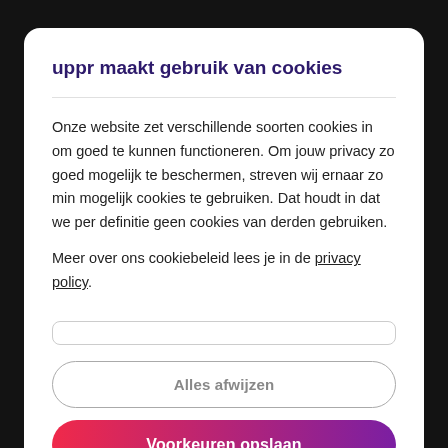uppr maakt gebruik van cookies
Onze website zet verschillende soorten cookies in om goed te kunnen functioneren. Om jouw privacy zo goed mogelijk te beschermen, streven wij ernaar zo min mogelijk cookies te gebruiken. Dat houdt in dat we per definitie geen cookies van derden gebruiken.
Meer over ons cookiebeleid lees je in de privacy policy.
Alles afwijzen
Voorkeuren opslaan